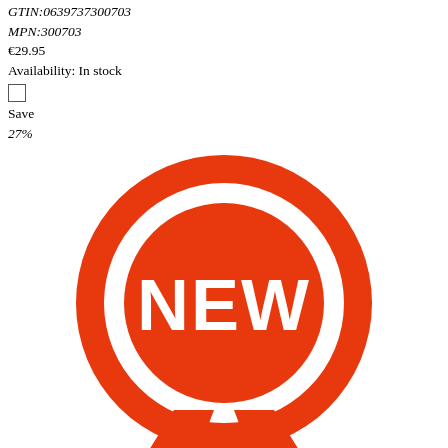GTIN:0639737300703
MPN:300703
€29.95
Availability: In stock
Save
27%
[Figure (logo): Red ribbon/badge icon with the word NEW in white bold text inside a red circle, with two ribbon tails below]